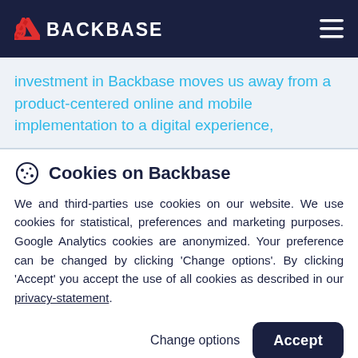BACKBASE
investment in Backbase moves us away from a product-centered online and mobile implementation to a digital experience,
Cookies on Backbase
We and third-parties use cookies on our website. We use cookies for statistical, preferences and marketing purposes. Google Analytics cookies are anonymized. Your preference can be changed by clicking 'Change options'. By clicking 'Accept' you accept the use of all cookies as described in our privacy-statement.
Change options   Accept